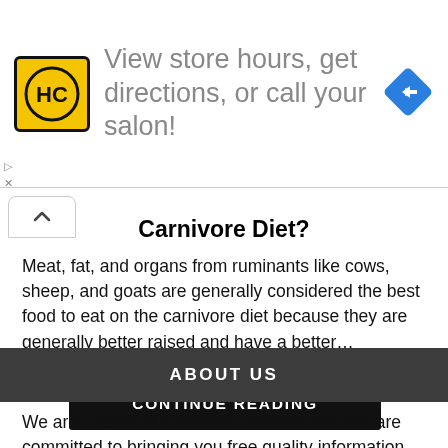[Figure (screenshot): Ad banner with HC logo (yellow square with black HC letters), text 'View store hours, get directions, or call your salon!', and a blue diamond navigation icon on the right.]
Carnivore Diet?
Meat, fat, and organs from ruminants like cows, sheep, and goats are generally considered the best food to eat on the carnivore diet because they are generally better raised and have a better...
CONTINUE READING
ABOUT US
We are a team of dedicated researchers who are committed to bringing you free quality information